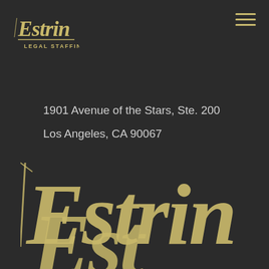[Figure (logo): Estrin Legal Staffing logo — cursive 'Estrin' text above small caps 'LEGAL STAFFING', in gold/olive color on dark background, top left corner]
[Figure (other): Hamburger menu icon (three horizontal lines) in gold color, top right corner]
1901 Avenue of the Stars, Ste. 200
Los Angeles, CA 90067
[Figure (logo): Large watermark-style cursive 'Estrin' script logo in gold/olive color, partially visible at bottom of page]